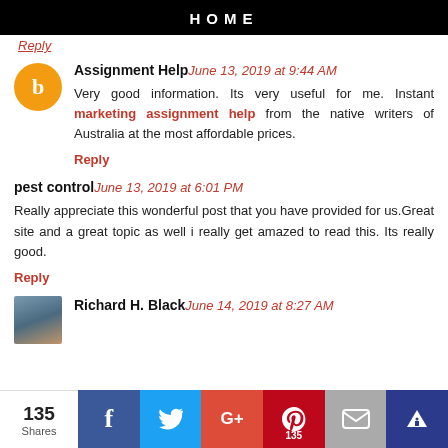HOME
Reply
Assignment Help June 13, 2019 at 9:44 AM
Very good information. Its very useful for me. Instant marketing assignment help from the native writers of Australia at the most affordable prices.
Reply
pest control June 13, 2019 at 6:01 PM
Really appreciate this wonderful post that you have provided for us.Great site and a great topic as well i really get amazed to read this. Its really good.
Reply
Richard H. Black June 14, 2019 at 8:27 AM
135 Shares